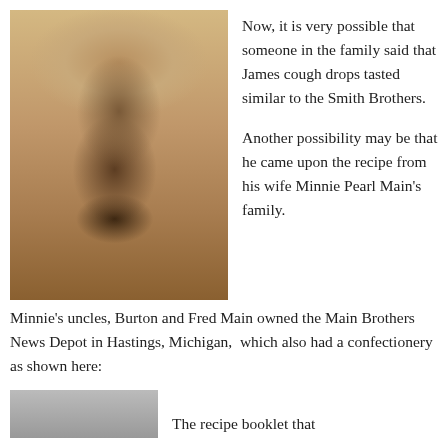[Figure (photo): Sepia-toned portrait photograph of a man with a large mustache wearing a dark suit with a bow tie, late 19th century style.]
Now, it is very possible that someone in the family said that James cough drops tasted similar to the Smith Brothers.
Another possibility may be that he came upon the recipe from his wife Minnie Pearl Main's family.
Minnie's uncles, Burton and Fred Main owned the Main Brothers News Depot in Hastings, Michigan,  which also had a confectionery as shown here:
[Figure (photo): Partial view of another historical photograph visible at the bottom of the page.]
The recipe booklet that